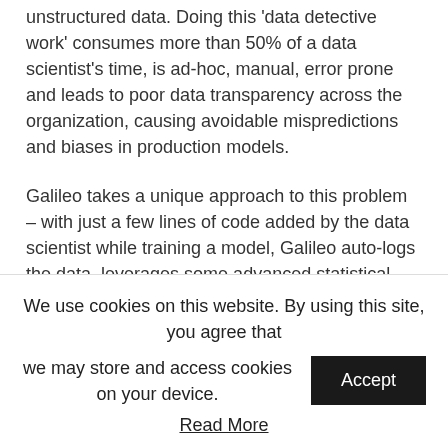unstructured data. Doing this 'data detective work' consumes more than 50% of a data scientist's time, is ad-hoc, manual, error prone and leads to poor data transparency across the organization, causing avoidable mispredictions and biases in production models.
Galileo takes a unique approach to this problem – with just a few lines of code added by the data scientist while training a model, Galileo auto-logs the data, leverages some advanced statistical algorithms the team has created and then intelligently surfaces the model's failure points with actions and integrations to immediately fix them, all within one platform. This short circuits the time taken to proactively find critical errors in ML data across
We use cookies on this website. By using this site, you agree that we may store and access cookies on your device.
Accept
Read More